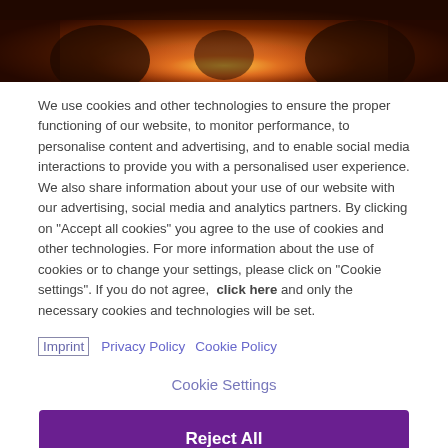[Figure (photo): Dark warm-toned photo of people around a campfire, one person playing guitar, orange and brown tones]
We use cookies and other technologies to ensure the proper functioning of our website, to monitor performance, to personalise content and advertising, and to enable social media interactions to provide you with a personalised user experience. We also share information about your use of our website with our advertising, social media and analytics partners. By clicking on "Accept all cookies" you agree to the use of cookies and other technologies. For more information about the use of cookies or to change your settings, please click on "Cookie settings". If you do not agree,  click here and only the necessary cookies and technologies will be set.
Imprint   Privacy Policy   Cookie Policy
Cookie Settings
Reject All